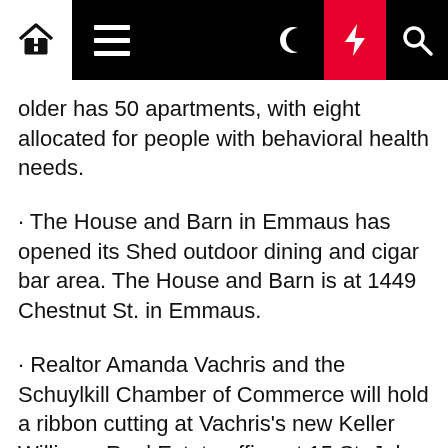Navigation bar with home, menu, dark mode, lightning/breaking, search icons
older has 50 apartments, with eight allocated for people with behavioral health needs.
· The House and Barn in Emmaus has opened its Shed outdoor dining and cigar bar area. The House and Barn is at 1449 Chestnut St. in Emmaus.
· Realtor Amanda Vachris and the Schuylkill Chamber of Commerce will hold a ribbon cutting at Vachris's new Keller Williams Real Estate office at 15 St. John St., Schuylkill Haven, at 4 p.m. on May 24.
· Il Gaetano Ristorante will hold a grand opening on Friday, May 20, at 5:30 p.m. The 665 Columbus Ave., Phillipsburg.
· First Commonwealth Federal Credit Union will hold a grand opening at its new headquarters in Trexlertown, 6126 Hamilton Blvd., on May 18.